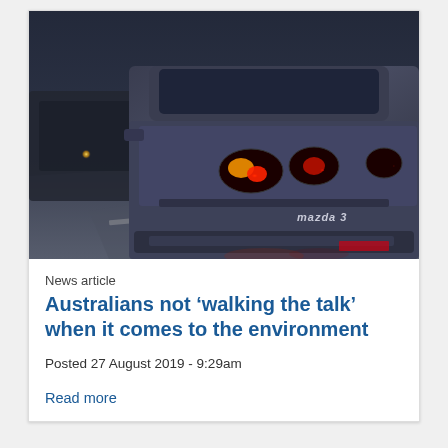[Figure (photo): Close-up photo of the rear of a dark blue/grey Mazda 3 car in traffic, with brake lights glowing red-orange, other cars with headlights visible in the background on a wet road at dusk.]
News article
Australians not ‘walking the talk’ when it comes to the environment
Posted 27 August 2019 - 9:29am
Read more